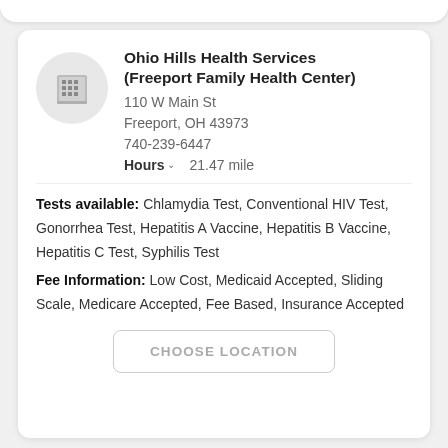Ohio Hills Health Services (Freeport Family Health Center)
110 W Main St
Freeport, OH 43973
740-239-6447
Hours  21.47 mile
Tests available: Chlamydia Test, Conventional HIV Test, Gonorrhea Test, Hepatitis A Vaccine, Hepatitis B Vaccine, Hepatitis C Test, Syphilis Test
Fee Information: Low Cost, Medicaid Accepted, Sliding Scale, Medicare Accepted, Fee Based, Insurance Accepted
CHOOSE LOCATION